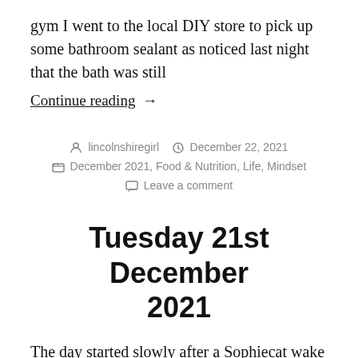gym I went to the local DIY store to pick up some bathroom sealant as noticed last night that the bath was still
Continue reading →
lincolnshiregirl   December 22, 2021   December 2021, Food & Nutrition, Life, Mindset   Leave a comment
Tuesday 21st December 2021
The day started slowly after a Sophiecat wake up again before 5am! Felt good about the day until I went